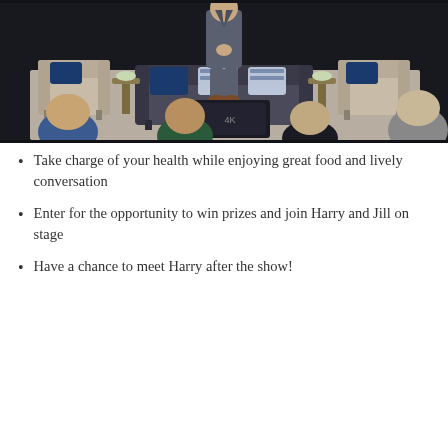[Figure (photo): A man in a grey suit standing on a stage in front of elegant furniture including sofas and armchairs with navy blue and white pillows. Audience members are visible in the foreground with their backs to the camera.]
Take charge of your health while enjoying great food and lively conversation
Enter for the opportunity to win prizes and join Harry and Jill on stage
Have a chance to meet Harry after the show!